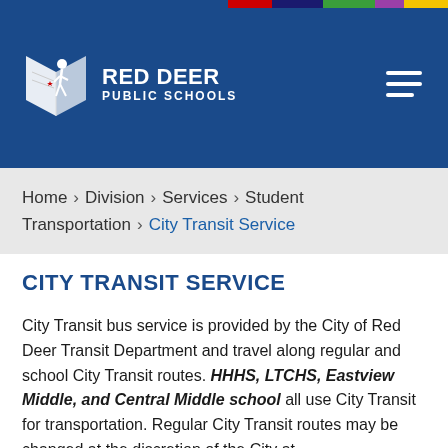RED DEER PUBLIC SCHOOLS
Home > Division > Services > Student Transportation > City Transit Service
CITY TRANSIT SERVICE
City Transit bus service is provided by the City of Red Deer Transit Department and travel along regular and school City Transit routes. HHHS, LTCHS, Eastview Middle, and Central Middle school all use City Transit for transportation. Regular City Transit routes may be changed at the discretion of the City at any time and are not provided for guaranteed student